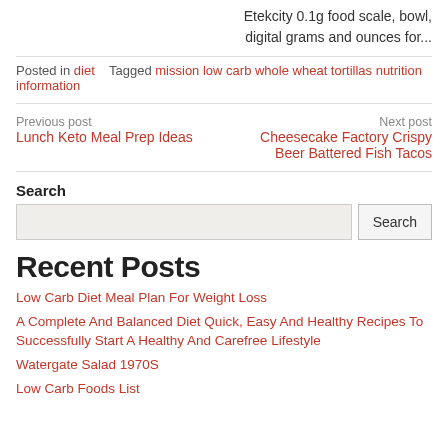Etekcity 0.1g food scale, bowl, digital grams and ounces for...
Posted in diet   Tagged mission low carb whole wheat tortillas nutrition information
Previous post
Lunch Keto Meal Prep Ideas
Next post
Cheesecake Factory Crispy Beer Battered Fish Tacos
Search
Recent Posts
Low Carb Diet Meal Plan For Weight Loss
A Complete And Balanced Diet Quick, Easy And Healthy Recipes To Successfully Start A Healthy And Carefree Lifestyle
Watergate Salad 1970S
Low Carb Foods List